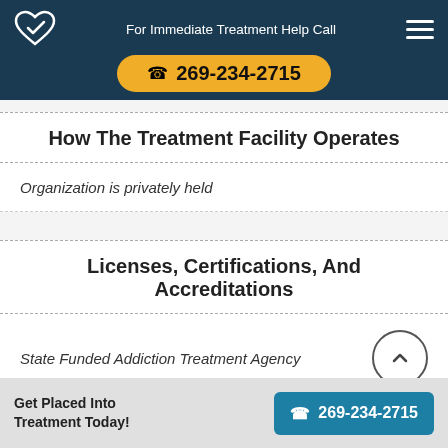For Immediate Treatment Help Call 269-234-2715
How The Treatment Facility Operates
Organization is privately held
Licenses, Certifications, And Accreditations
State Funded Addiction Treatment Agency
Get Placed Into Treatment Today! 269-234-2715